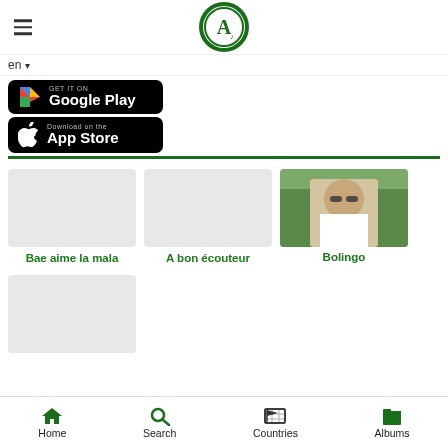[Figure (logo): Circular green logo with white letter A and music note inside]
en ▾
[Figure (screenshot): GET IT ON Google Play badge (black rounded rectangle)]
[Figure (screenshot): Download on the App Store badge (black rounded rectangle)]
Bae aime la mala
A bon écouteur
[Figure (photo): Photo of a man wearing sunglasses and white hoodie, outdoors]
Bolingo
Home  Search  Countries  Albums